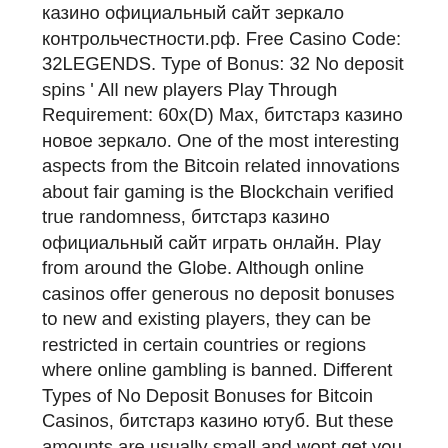казино официальный сайт зеркало контрольчестности.рф. Free Casino Code: 32LEGENDS. Type of Bonus: 32 No deposit spins ' All new players Play Through Requirement: 60x(D) Max, битстарз казино новое зеркало. One of the most interesting aspects from the Bitcoin related innovations about fair gaming is the Blockchain verified true randomness, битстарз казино официальный сайт играть онлайн. Play from around the Globe. Although online casinos offer generous no deposit bonuses to new and existing players, they can be restricted in certain countries or regions where online gambling is banned. Different Types of No Deposit Bonuses for Bitcoin Casinos, битстарз казино ютуб. But these amounts are usually small and wont get you more than a few bets at any game. There are also sometimes restrictions built into the bonus regarding withdrawals, битстарз казино промокод. When you purchase your